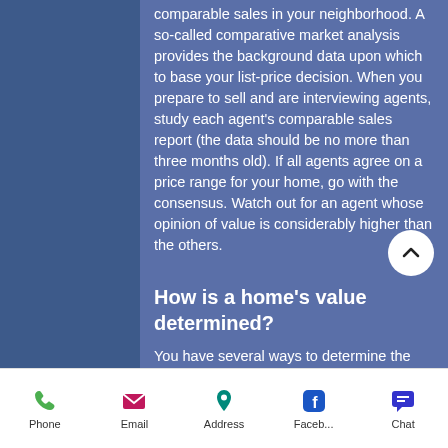comparable sales in your neighborhood. A so-called comparative market analysis provides the background data upon which to base your list-price decision. When you prepare to sell and are interviewing agents, study each agent's comparable sales report (the data should be no more than three months old). If all agents agree on a price range for your home, go with the consensus. Watch out for an agent whose opinion of value is considerably higher than the others.
How is a home's value determined?
You have several ways to determine the
Phone  Email  Address  Faceb...  Chat